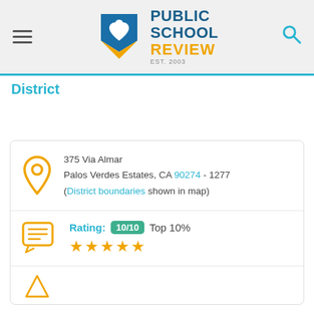[Figure (logo): Public School Review logo with EST. 2003 text, navigation hamburger menu on left and search icon on right]
District
375 Via Almar
Palos Verdes Estates, CA 90274 - 1277
(District boundaries shown in map)
Rating: 10/10 Top 10% ★★★★★